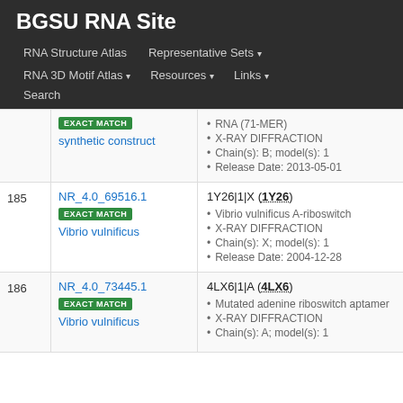BGSU RNA Site
RNA Structure Atlas | Representative Sets | RNA 3D Motif Atlas | Resources | Links | Search
| # | ID / Label | Entry Details |
| --- | --- | --- |
|  | NR_4.0_... EXACT MATCH synthetic construct | RNA (71-MER) • X-RAY DIFFRACTION • Chain(s): B; model(s): 1 • Release Date: 2013-05-01 |
| 185 | NR_4.0_69516.1 EXACT MATCH Vibrio vulnificus | 1Y26|1|X (1Y26) • Vibrio vulnificus A-riboswitch • X-RAY DIFFRACTION • Chain(s): X; model(s): 1 • Release Date: 2004-12-28 |
| 186 | NR_4.0_73445.1 EXACT MATCH Vibrio vulnificus | 4LX6|1|A (4LX6) • Mutated adenine riboswitch aptamer • X-RAY DIFFRACTION • Chain(s): A; model(s): 1 |